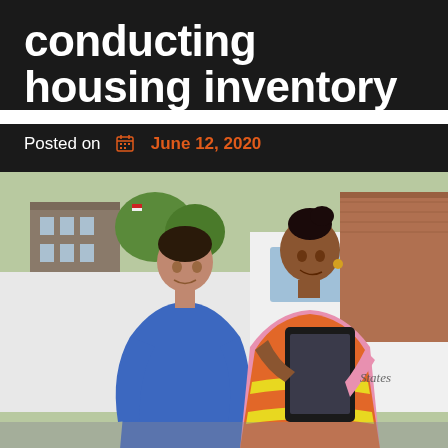conducting housing inventory
Posted on June 12, 2020
[Figure (photo): Two women standing outside near a white city vehicle. One woman in a blue shirt is on the left; the other woman on the right wears a pink shirt and an orange safety vest and is holding a tablet device. A brick building and trees are visible in the background. The vehicle has 'Statesboro' branding on it.]